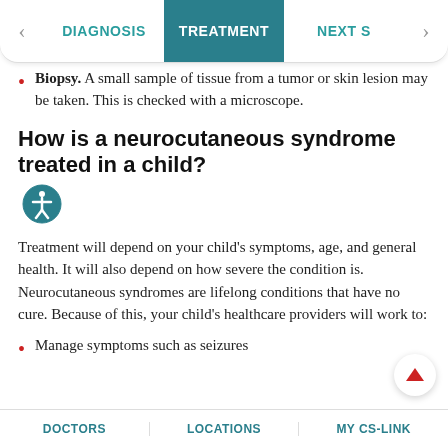DIAGNOSIS | TREATMENT | NEXT S
Biopsy. A small sample of tissue from a tumor or skin lesion may be taken. This is checked with a microscope.
How is a neurocutaneous syndrome treated in a child?
Treatment will depend on your child’s symptoms, age, and general health. It will also depend on how severe the condition is. Neurocutaneous syndromes are lifelong conditions that have no cure. Because of this, your child's healthcare providers will work to:
Manage symptoms such as seizures
DOCTORS | LOCATIONS | MY CS-LINK